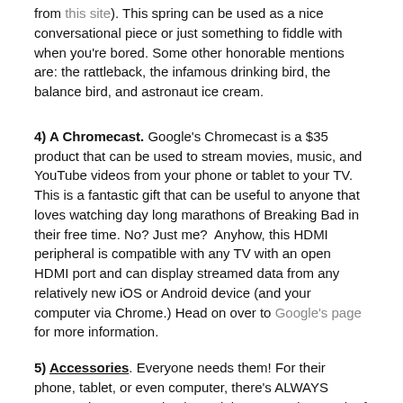from this site). This spring can be used as a nice conversational piece or just something to fiddle with when you're bored. Some other honorable mentions are: the rattleback, the infamous drinking bird, the balance bird, and astronaut ice cream.
4) A Chromecast. Google's Chromecast is a $35 product that can be used to stream movies, music, and YouTube videos from your phone or tablet to your TV. This is a fantastic gift that can be useful to anyone that loves watching day long marathons of Breaking Bad in their free time. No? Just me? Anyhow, this HDMI peripheral is compatible with any TV with an open HDMI port and can display streamed data from any relatively new iOS or Android device (and your computer via Chrome.) Head on over to Google's page for more information.
5) Accessories. Everyone needs them! For their phone, tablet, or even computer, there's ALWAYS accessories. It's as simple as doing a Google search of *product name here*